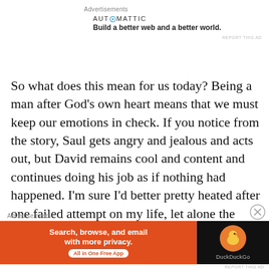Advertisements
[Figure (logo): Automattic logo and tagline: Build a better web and a better world.]
So what does this mean for us today? Being a man after God’s own heart means that we must keep our emotions in check. If you notice from the story, Saul gets angry and jealous and acts out, but David remains cool and content and continues doing his job as if nothing had happened. I’m sure I’d better pretty heated after one failed attempt on my life, let alone the amount David endured.
Advertisements
[Figure (screenshot): DuckDuckGo advertisement banner: Search, browse, and email with more privacy. All in One Free App.]